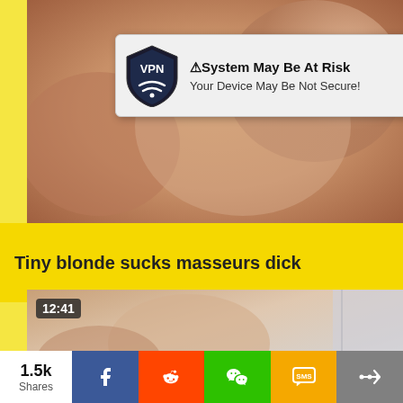[Figure (screenshot): Video thumbnail showing close-up skin tones, blurred adult content]
[Figure (screenshot): VPN popup overlay: shield logo with VPN text, title '⚠System May Be At Risk', subtitle 'Your Device May Be Not Secure!', close button x]
Tiny blonde sucks masseurs dick
[Figure (screenshot): Second video thumbnail with timestamp 12:41, blonde figure in background]
1.5k Shares